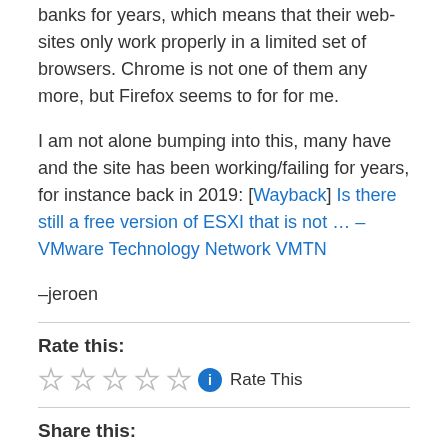banks for years, which means that their web-sites only work properly in a limited set of browsers. Chrome is not one of them any more, but Firefox seems to for for me.
I am not alone bumping into this, many have and the site has been working/failing for years, for instance back in 2019: [Wayback] Is there still a free version of ESXI that is not … – VMware Technology Network VMTN
–jeroen
Rate this:
[Figure (other): Five empty star rating icons followed by a blue info icon and 'Rate This' text]
Share this:
[Figure (other): LinkedIn Share button and Twitter Tweet button]